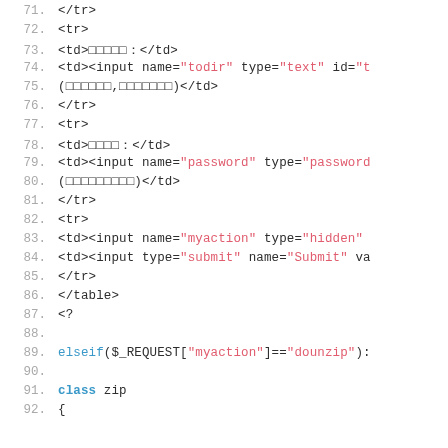Code listing lines 71-92 showing HTML form and PHP code snippet
71.     </tr>
72.     <tr>
73.     <td>□□□□□：</td>
74.     <td><input name="todir" type="text" id="t
75.     (□□□□□□,□□□□□□□)</td>
76.     </tr>
77.     <tr>
78.     <td>□□□□：</td>
79.     <td><input name="password" type="password
80.     (□□□□□□□□□)</td>
81.     </tr>
82.     <tr>
83.     <td><input name="myaction" type="hidden"
84.     <td><input type="submit" name="Submit" va
85.     </tr>
86.     </table>
87.     <?
88.     (empty)
89.     elseif($_REQUEST["myaction"]=="dounzip"):
90.     (empty)
91.     class zip
92.     {